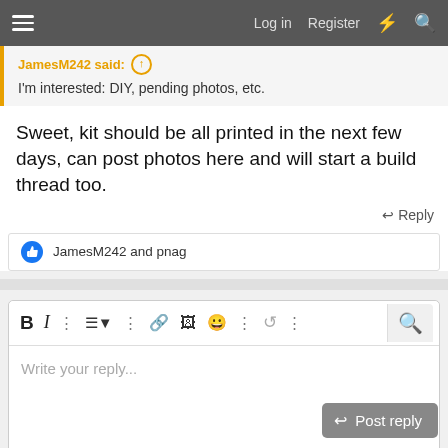Log in  Register
JamesM242 said:
I'm interested: DIY, pending photos, etc.
Sweet, kit should be all printed in the next few days, can post photos here and will start a build thread too.
Reply
JamesM242 and pnag
Write your reply...
Post reply